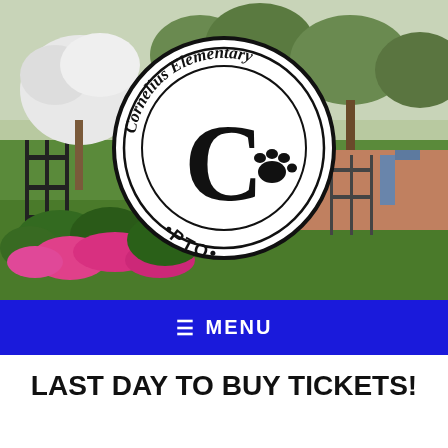[Figure (photo): Outdoor school grounds with green lawn, flowering trees, azalea bushes with pink flowers, black iron fence, and trees in background. Cornelius Elementary PTO circular logo overlaid in center.]
≡  MENU
LAST DAY TO BUY TICKETS!